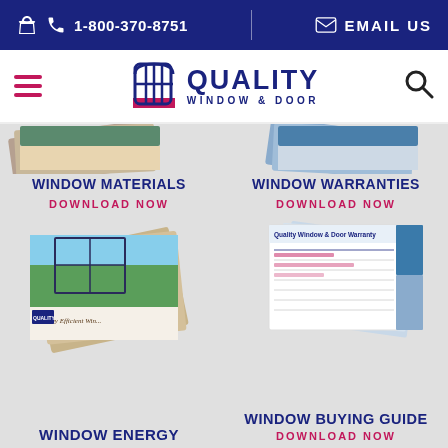1-800-370-8751 | EMAIL US
[Figure (logo): Quality Window & Door logo with hamburger menu and search icon]
[Figure (photo): Partial brochure stacks visible at top of content area]
WINDOW MATERIALS
DOWNLOAD NOW
[Figure (photo): Energy Efficient Windows brochure stack]
WINDOW WARRANTIES
DOWNLOAD NOW
[Figure (photo): Window warranty documents stack]
WINDOW ENERGY
WINDOW BUYING GUIDE
DOWNLOAD NOW